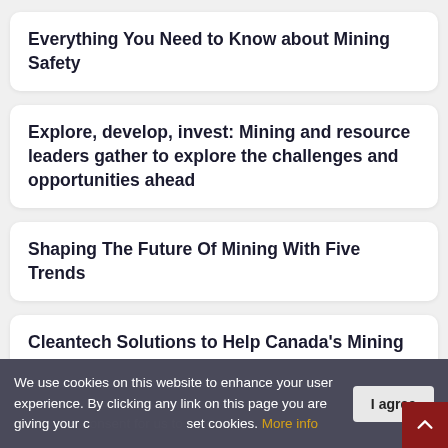Everything You Need to Know about Mining Safety
Explore, develop, invest: Mining and resource leaders gather to explore the challenges and opportunities ahead
Shaping The Future Of Mining With Five Trends
Cleantech Solutions to Help Canada's Mining Sector Grow in a Net-Zero Economy
We use cookies on this website to enhance your user experience. By clicking any link on this page you are giving your consent for us to set cookies. More info